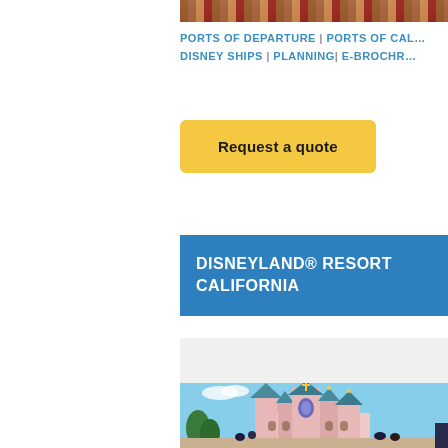[Figure (photo): Top partial image showing food or merchandise items cropped at top of page]
PORTS OF DEPARTURE | PORTS OF CAL... DISNEY SHIPS | PLANNING| E-BROCHR...
Request a quote
DISNEYLAND® RESORT CALIFORNIA
[Figure (photo): Photo of Disneyland castle (Sleeping Beauty Castle) with turrets, pink towers and gold decorations, with people in foreground]